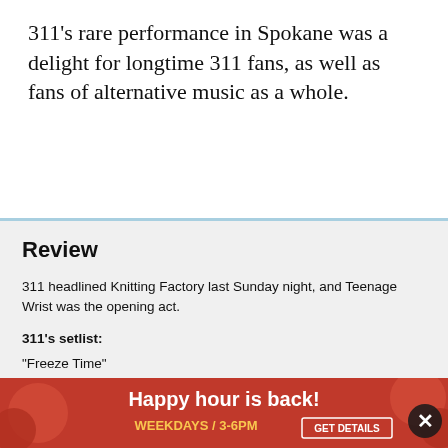311's rare performance in Spokane was a delight for longtime 311 fans, as well as fans of alternative music as a whole.
Review
311 headlined Knitting Factory last Sunday night, and Teenage Wrist was the opening act.
311's setlist:
“Freeze Time”
“Do You Right”
“Sunset in July”
“Bea[ch...]
“Pric[e...]
[Figure (infographic): Advertisement banner: 'Happy hour is back! WEEKDAYS / 3-6PM GET DETAILS' on red background with decorative circular motifs]